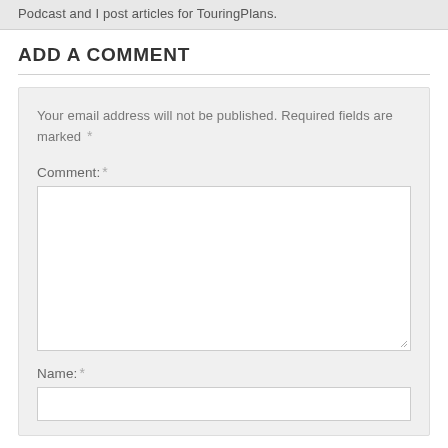Podcast and I post articles for TouringPlans.
ADD A COMMENT
Your email address will not be published. Required fields are marked *
Comment: *
Name: *